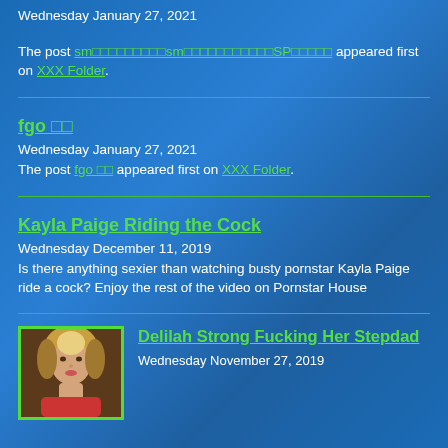Wednesday January 27, 2021
The post sm□□□□□□□□□sm□□□□□□□□□□□SP□□□□□ appeared first on XXX Folder.
fgo □□
Wednesday January 27, 2021
The post fgo □□ appeared first on XXX Folder.
Kayla Paige Riding the Cock
Wednesday December 11, 2019
Is there anything sexier than watching busty pornstar Kayla Paige ride a cock? Enjoy the rest of the video on Pornstar House
[Figure (photo): Thumbnail image of a woman with blonde/brown hair]
Delilah Strong Fucking Her Stepdad
Wednesday November 27, 2019